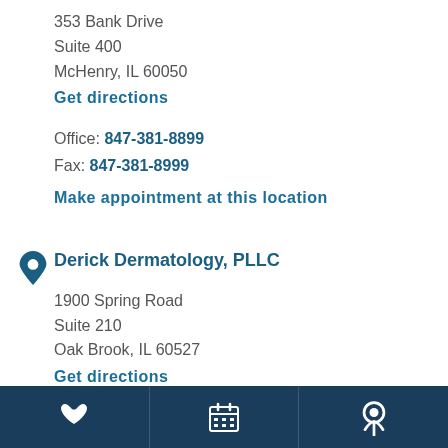353 Bank Drive
Suite 400
McHenry, IL 60050
Get directions
Office: 847-381-8899
Fax: 847-381-8999
Make appointment at this location
Derick Dermatology, PLLC
1900 Spring Road
Suite 210
Oak Brook, IL 60527
Get directions
Office: 847-381-8899
Fax: 847-381-8999